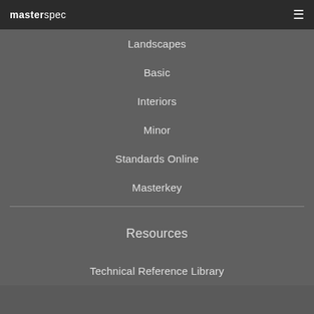masterspec ≡
Landscapes
Basic
Interiors
Minor
Standards Online
Masterkey
Resources
Technical Reference Library